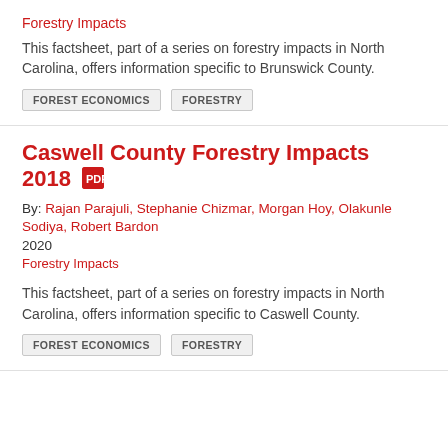Forestry Impacts
This factsheet, part of a series on forestry impacts in North Carolina, offers information specific to Brunswick County.
FOREST ECONOMICS
FORESTRY
Caswell County Forestry Impacts 2018
By: Rajan Parajuli, Stephanie Chizmar, Morgan Hoy, Olakunle Sodiya, Robert Bardon
2020
Forestry Impacts
This factsheet, part of a series on forestry impacts in North Carolina, offers information specific to Caswell County.
FOREST ECONOMICS
FORESTRY